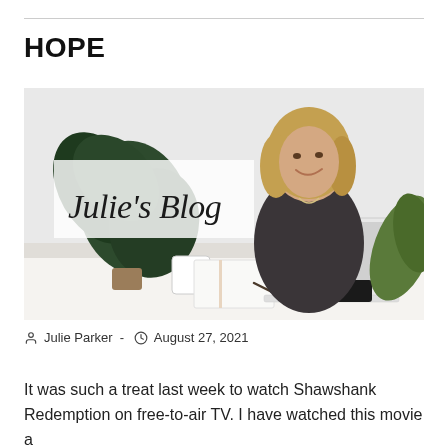HOPE
[Figure (photo): Julie's Blog banner photo showing a smiling woman sitting at a white desk with a laptop, a plant, and a coffee cup. Cursive text reads 'Julie's Blog' overlaid on the image.]
Julie Parker  -  August 27, 2021
It was such a treat last week to watch Shawshank Redemption on free-to-air TV. I have watched this movie a